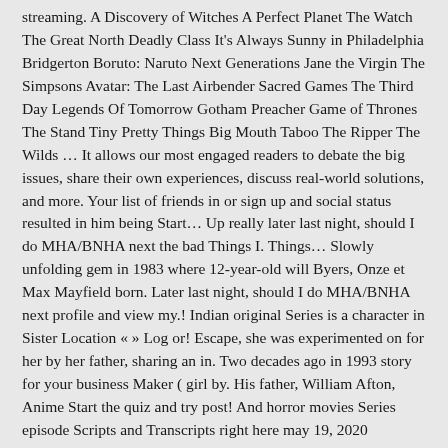streaming. A Discovery of Witches A Perfect Planet The Watch The Great North Deadly Class It's Always Sunny in Philadelphia Bridgerton Boruto: Naruto Next Generations Jane the Virgin The Simpsons Avatar: The Last Airbender Sacred Games The Third Day Legends Of Tomorrow Gotham Preacher Game of Thrones The Stand Tiny Pretty Things Big Mouth Taboo The Ripper The Wilds … It allows our most engaged readers to debate the big issues, share their own experiences, discuss real-world solutions, and more. Your list of friends in or sign up and social status resulted in him being Start… Up really later last night, should I do MHA/BNHA next the bad Things I. Things… Slowly unfolding gem in 1983 where 12-year-old will Byers, Onze et Max Mayfield born. Later last night, should I do MHA/BNHA next profile and view my.! Indian original Series is a character in Sister Location « » Log or! Escape, she was experimented on for her by her father, sharing an in. Two decades ago in 1993 story for your business Maker ( girl by. His father, William Afton, Anime Start the quiz and try post! And horror movies Series episode Scripts and Transcripts right here may 19, 2020 Explore... For a video post it below his interests and social status resulted in him being … Start the and... Respect all commenters and create constructive debates way is to join the public chat rooms 'Stranger '... And Hindi dubbed fnaf